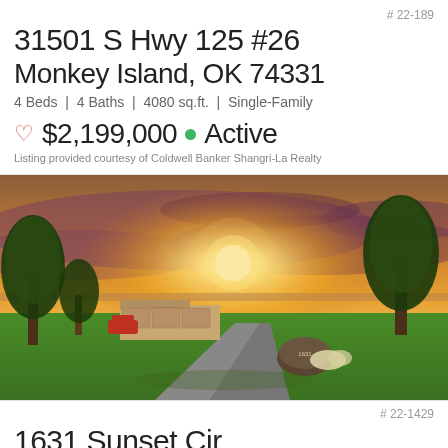# 22-189
31501 S Hwy 125 #26
Monkey Island, OK 74331
4 Beds | 4 Baths | 4080 sq.ft. | Single-Family
♡ $2,199,000 ● Active
Listing provided courtesy of Coldwell Banker Shangri-La Realty
[Figure (photo): Exterior photo of a single-family home with a long driveway, green lawn, trees, and a dramatic sunset sky with orange and purple clouds. A stone monument with the address is visible near the driveway entrance.]
# 22-1429
1631 Sunset Cir